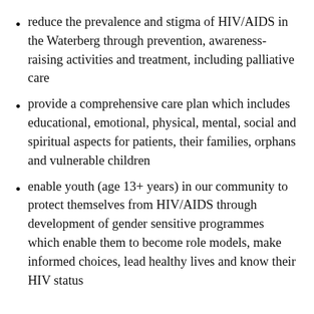reduce the prevalence and stigma of HIV/AIDS in the Waterberg through prevention, awareness-raising activities and treatment, including palliative care
provide a comprehensive care plan which includes educational, emotional, physical, mental, social and spiritual aspects for patients, their families, orphans and vulnerable children
enable youth (age 13+ years) in our community to protect themselves from HIV/AIDS through development of gender sensitive programmes which enable them to become role models, make informed choices, lead healthy lives and know their HIV status